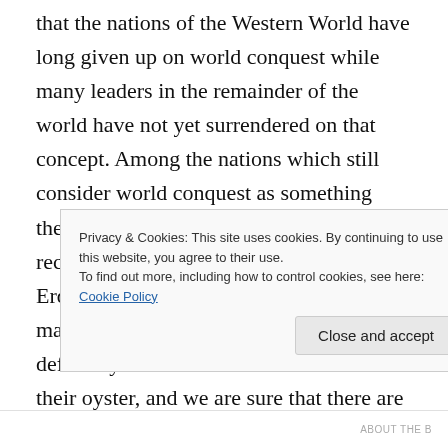that the nations of the Western World have long given up on world conquest while many leaders in the remainder of the world have not yet surrendered on that concept. Among the nations which still consider world conquest as something they believe could be in their future in the recent times have included Recep Tayyip Erdoğan's Turkey, The USSR, China, who may still have that idea, Iran, which definitely believes the world will become their oyster, and we are sure that there are or will be others as also in the recent past include, please do not laugh,
Privacy & Cookies: This site uses cookies. By continuing to use this website, you agree to their use.
To find out more, including how to control cookies, see here: Cookie Policy
Close and accept